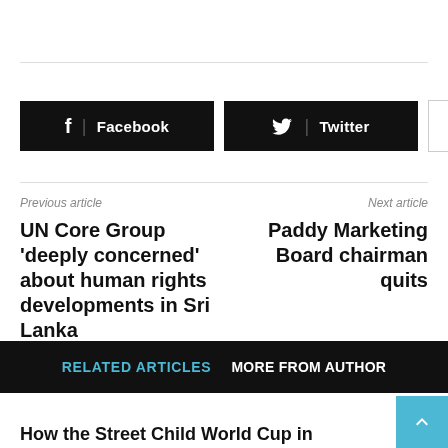[Figure (screenshot): Social share buttons: Facebook (black), Twitter (black), and a plus button (white/outlined)]
Previous article
UN Core Group ‘deeply concerned’ about human rights developments in Sri Lanka
Next article
Paddy Marketing Board chairman quits
RELATED ARTICLES  MORE FROM AUTHOR
How the Street Child World Cup in